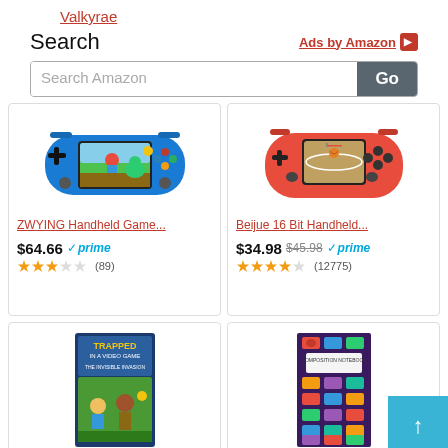Valkyrae
Search
Ads by Amazon
Search Amazon | Go
[Figure (screenshot): Blue handheld gaming device showing Mario game]
ZWYING Handheld Game...
$64.66 prime (89)
[Figure (screenshot): Red handheld gaming device showing basketball game]
Beijue 16 Bit Handheld...
$34.98 $45.98 prime (12775)
[Figure (screenshot): Book: Trapped in a Video Game The Invisible Invasion]
[Figure (screenshot): Composition notebook with video game controller design]